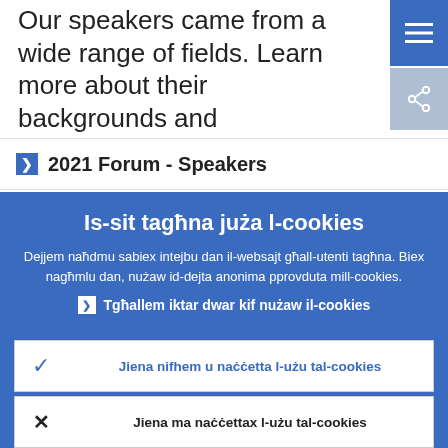Our speakers came from a wide range of fields. Learn more about their backgrounds and professional experience.
2021 Forum - Speakers
Is-sit tagħna juża l-cookies
Dejjem naħdmu sabiex intejbu dan il-websajt għall-utenti tagħna. Biex nagħmlu dan, nużaw id-dejta anonima pprovduta mill-cookies.
Tgħallem iktar dwar kif nużaw il-cookies
Jiena nifhem u naċċetta l-użu tal-cookies
Jiena ma naċċettax l-użu tal-cookies